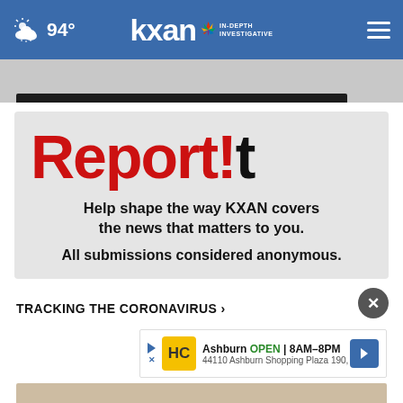94° kxan IN-DEPTH INVESTIGATIVE
[Figure (screenshot): KXAN news website screenshot showing Report!t promotional card and Tracking the Coronavirus section with advertisement]
Report!t
Help shape the way KXAN covers the news that matters to you.
All submissions considered anonymous.
TRACKING THE CORONAVIRUS ›
Ashburn  OPEN  8AM–8PM  44110 Ashburn Shopping Plaza 190, .